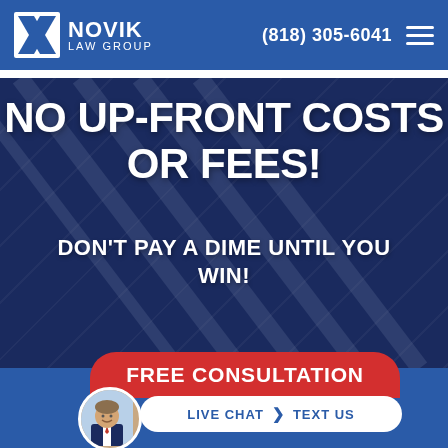NOVIK LAW GROUP | (818) 305-6041
NO UP-FRONT COSTS OR FEES!
DON'T PAY A DIME UNTIL YOU WIN!
FREE CONSULTATION
LIVE CHAT | TEXT US